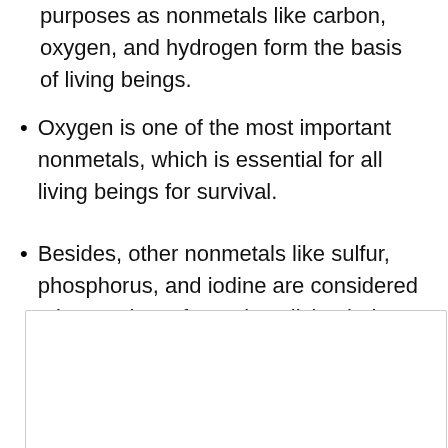purposes as nonmetals like carbon, oxygen, and hydrogen form the basis of living beings.
Oxygen is one of the most important nonmetals, which is essential for all living beings for survival.
Besides, other nonmetals like sulfur, phosphorus, and iodine are considered micronutrients for various living beings.
[Figure (other): Empty bordered box at the bottom of the page]